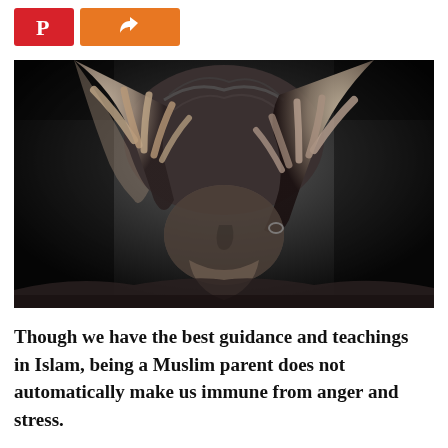[Figure (photo): Black and white photograph of a person in distress holding their hands over their head and hair, looking stressed or overwhelmed.]
Though we have the best guidance and teachings in Islam, being a Muslim parent does not automatically make us immune from anger and stress.